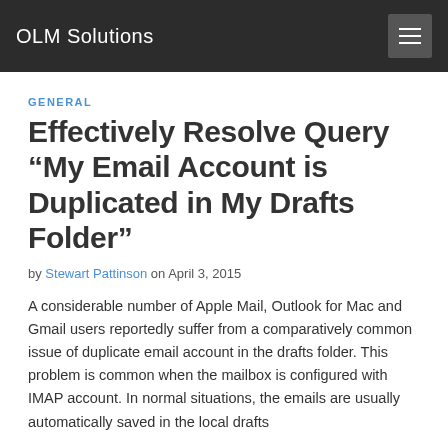OLM Solutions
GENERAL
Effectively Resolve Query “My Email Account is Duplicated in My Drafts Folder”
by Stewart Pattinson on April 3, 2015
A considerable number of Apple Mail, Outlook for Mac and Gmail users reportedly suffer from a comparatively common issue of duplicate email account in the drafts folder. This problem is common when the mailbox is configured with IMAP account. In normal situations, the emails are usually automatically saved in the local drafts